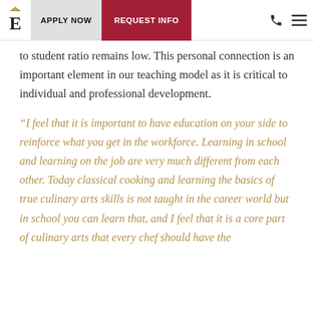E | APPLY NOW | REQUEST INFO
to student ratio remains low. This personal connection is an important element in our teaching model as it is critical to individual and professional development.
“I feel that it is important to have education on your side to reinforce what you get in the workforce. Learning in school and learning on the job are very much different from each other. Today classical cooking and learning the basics of true culinary arts skills is not taught in the career world but in school you can learn that, and I feel that it is a core part of culinary arts that every chef should have the